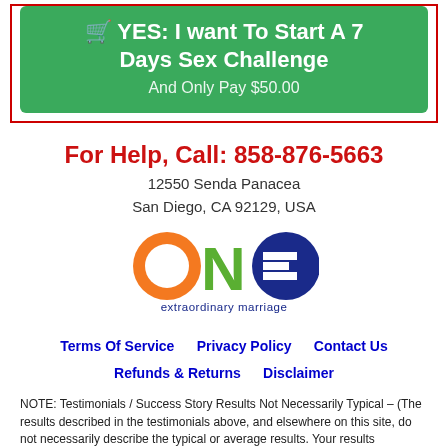[Figure (screenshot): Green call-to-action button/banner with text 'YES: I want To Start A 7 Days Sex Challenge And Only Pay $50.00']
For Help, Call: 858-876-5663
12550 Senda Panacea
San Diego, CA 92129, USA
[Figure (logo): ONE extraordinary marriage logo — orange O, green N, blue E letters with 'extraordinary marriage' below]
Terms Of Service    Privacy Policy    Contact Us
Refunds & Returns    Disclaimer
NOTE: Testimonials / Success Story Results Not Necessarily Typical – (The results described in the testimonials above, and elsewhere on this site, do not necessarily describe the typical or average results. Your results